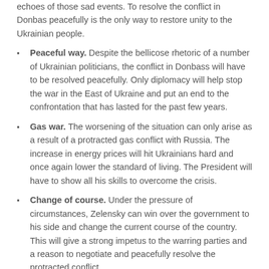echoes of those sad events. To resolve the conflict in Donbas peacefully is the only way to restore unity to the Ukrainian people.
Peaceful way. Despite the bellicose rhetoric of a number of Ukrainian politicians, the conflict in Donbass will have to be resolved peacefully. Only diplomacy will help stop the war in the East of Ukraine and put an end to the confrontation that has lasted for the past few years.
Gas war. The worsening of the situation can only arise as a result of a protracted gas conflict with Russia. The increase in energy prices will hit Ukrainians hard and once again lower the standard of living. The President will have to show all his skills to overcome the crisis.
Change of course. Under the pressure of circumstances, Zelensky can win over the government to his side and change the current course of the country. This will give a strong impetus to the warring parties and a reason to negotiate and peacefully resolve the protracted conflict.
Predictions of modern astrologers and